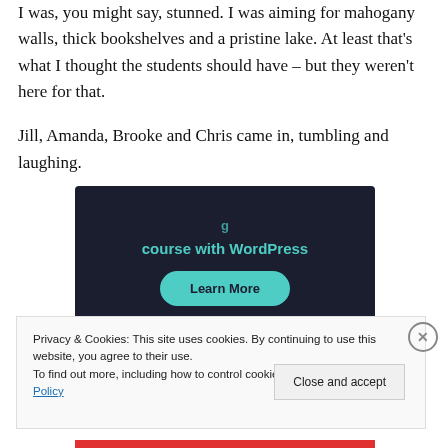I was, you might say, stunned. I was aiming for mahogany walls, thick bookshelves and a pristine lake. At least that's what I thought the students should have – but they weren't here for that.
Jill, Amanda, Brooke and Chris came in, tumbling and laughing.
[Figure (screenshot): Dark navy advertisement banner showing 'course with WordPress' text in teal, with a teal 'Learn More' button]
Privacy & Cookies: This site uses cookies. By continuing to use this website, you agree to their use.
To find out more, including how to control cookies, see here: Cookie Policy
Close and accept